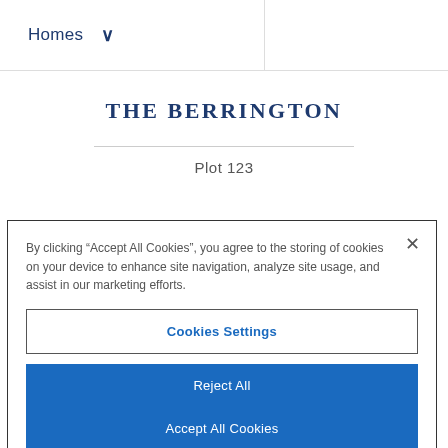Homes ˅
THE BERRINGTON
Plot 123
By clicking "Accept All Cookies", you agree to the storing of cookies on your device to enhance site navigation, analyze site usage, and assist in our marketing efforts.
Cookies Settings
Reject All
Accept All Cookies